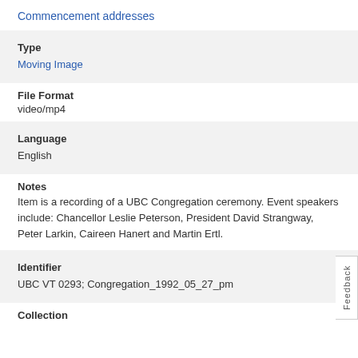Commencement addresses
Type
Moving Image
File Format
video/mp4
Language
English
Notes
Item is a recording of a UBC Congregation ceremony. Event speakers include: Chancellor Leslie Peterson, President David Strangway, Peter Larkin, Caireen Hanert and Martin Ertl.
Identifier
UBC VT 0293; Congregation_1992_05_27_pm
Collection